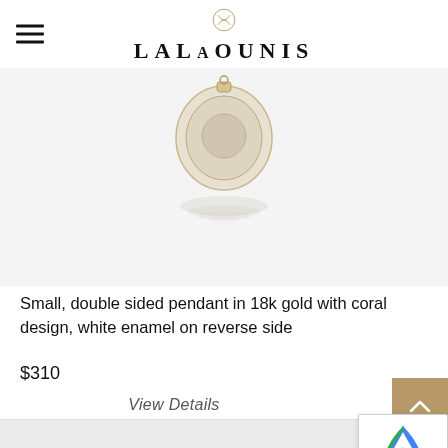LALAoUNIS
[Figure (photo): Product photo of a small double sided pendant in 18k gold with coral design, white enamel on reverse side, shown on a light gray background]
Small, double sided pendant in 18k gold with coral design, white enamel on reverse side
$310
View Details